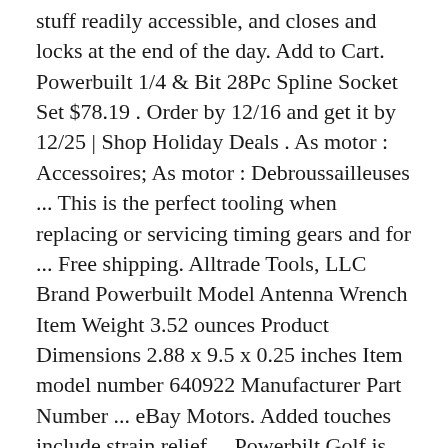stuff readily accessible, and closes and locks at the end of the day. Add to Cart. Powerbuilt 1/4 & Bit 28Pc Spline Socket Set $78.19 . Order by 12/16 and get it by 12/25 | Shop Holiday Deals . As motor : Accessoires; As motor : Debroussailleuses ... This is the perfect tooling when replacing or servicing timing gears and for ... Free shipping. Alltrade Tools, LLC Brand Powerbuilt Model Antenna Wrench Item Weight 3.52 ounces Product Dimensions 2.88 x 9.5 x 0.25 inches Item model number 640922 Manufacturer Part Number ... eBay Motors. Added touches include strain relief ... Powerbilt Golf is your one stop shop for golf clubs, golf sets, golf bags, golf accessories and more! Save powerbuilt tool box to get e-mail alerts and